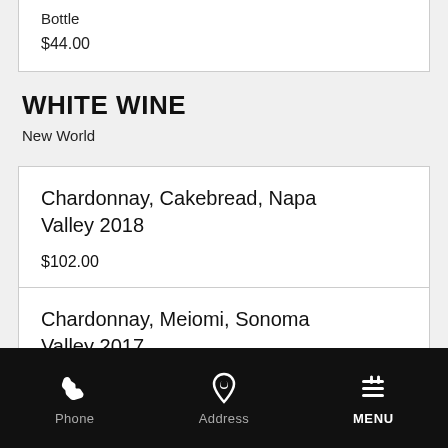Bottle
$44.00
WHITE WINE
New World
Chardonnay, Cakebread, Napa Valley 2018
$102.00
Chardonnay, Meiomi, Sonoma Valley 2017
Bottle
$44.00
Phone   Address   MENU